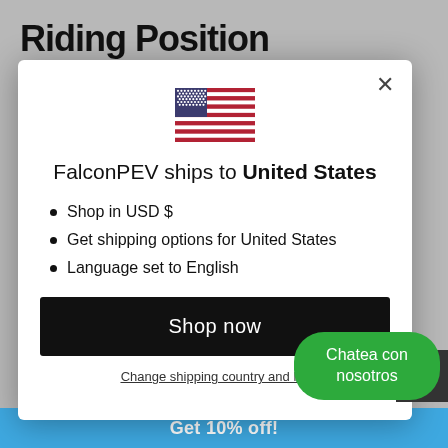Riding Position
[Figure (screenshot): US flag emoji icon centered in modal dialog]
FalconPEV ships to United States
Shop in USD $
Get shipping options for United States
Language set to English
Shop now
Change shipping country and l…
Chatea con nosotros
Get 10% off!